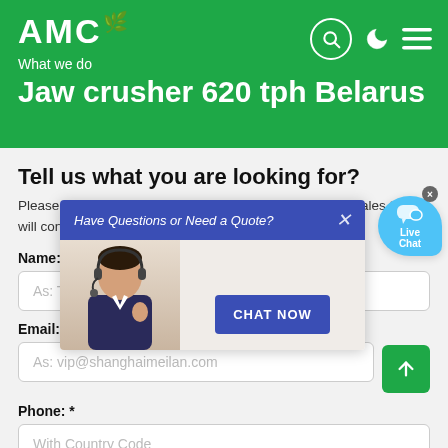AMC — What we do
Jaw crusher 620 tph Belarus
Tell us what you are looking for?
Please complete and submit the following form, and our sales team will contact you shortly with our best prices.
Name: *
As: Tom
Email: *
As: vip@shanghaimeilan.com
Phone: *
With Country Code
[Figure (screenshot): Live chat popup with agent photo, 'Have Questions or Need a Quote?' banner in blue, CHAT NOW button, and Live Chat bubble in top right corner.]